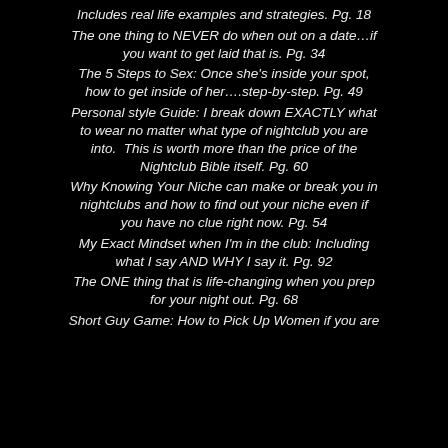Includes real life examples and strategies. Pg. 18
The one thing to NEVER do when out on a date…if you want to get laid that is. Pg. 34
The 5 Steps to Sex: Once she's inside your spot, how to get inside of her….step-by-step. Pg. 49
Personal style Guide: I break down EXACTLY what to wear no matter what type of nightclub you are into.  This is worth more than the price of the Nightclub Bible itself. Pg. 60
Why Knowing Your Niche can make or break you in nightclubs and how to find out your niche even if you have no clue right now. Pg. 54
My Exact Mindset when I'm in the club: Including what I say AND WHY I say it. Pg. 92
The ONE thing that is life-changing when you prep for your night out. Pg. 68
Short Guy Game: How to Pick Up Women if you are